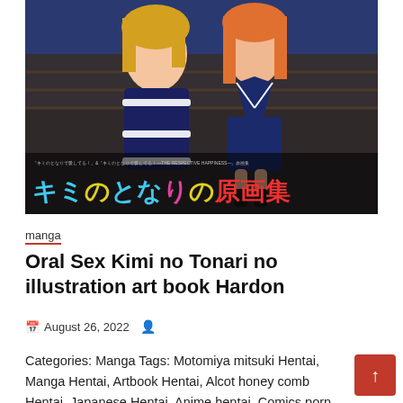[Figure (illustration): Manga/anime illustration art book cover showing two anime girls in school uniforms. Japanese text overlay reads キミのとなりの原画集 (Kimi no Tonari no Genga Shu). Small subtitle text above reads the full title in Japanese with THE RESPECTIVE HAPPINESS subtitle in English.]
manga
Oral Sex Kimi no Tonari no illustration art book Hardon
August 26, 2022
Categories: Manga Tags: Motomiya mitsuki Hentai, Manga Hentai, Artbook Hentai, Alcot honey comb Hentai, Japanese Hentai, Anime hentai, Comics porn